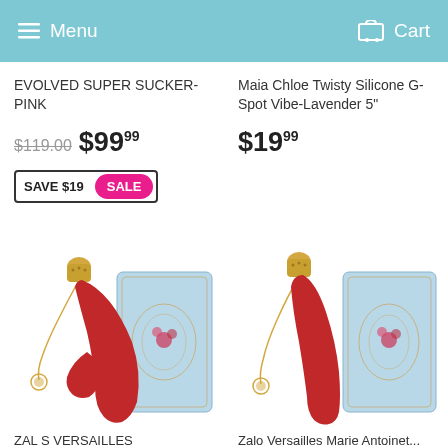Menu  Cart
EVOLVED SUPER SUCKER-PINK
$119.00  $99.99
SAVE $19  SALE
Maia Chloe Twisty Silicone G-Spot Vibe-Lavender 5"
$19.99
[Figure (photo): Red vibrator toy with gold chain and decorative cap next to light blue floral box packaging]
[Figure (photo): Red vibrator toy with gold chain and ornate cap next to light blue floral box packaging]
ZAL S VERSAILLES
Zalo Versailles Marie Antoinet...